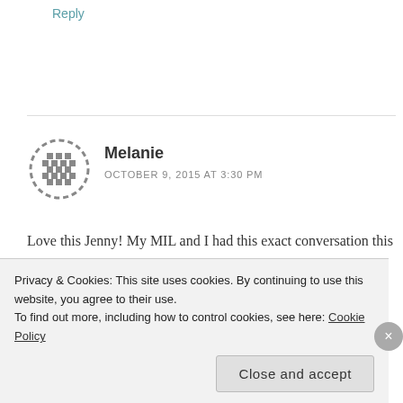Reply
[Figure (illustration): Gravatar avatar icon for user Melanie — circular dashed border with a pixelated cross/plus grid pattern in gray]
Melanie
OCTOBER 9, 2015 AT 3:30 PM
Love this Jenny! My MIL and I had this exact conversation this morning, bc Ryan slept 6.5 hours straight on Monday night (awesomeness!!), but last night was up at 9pm, 11:30pm, 2am, 3:30am, 5am, and
Privacy & Cookies: This site uses cookies. By continuing to use this website, you agree to their use.
To find out more, including how to control cookies, see here: Cookie Policy
Close and accept